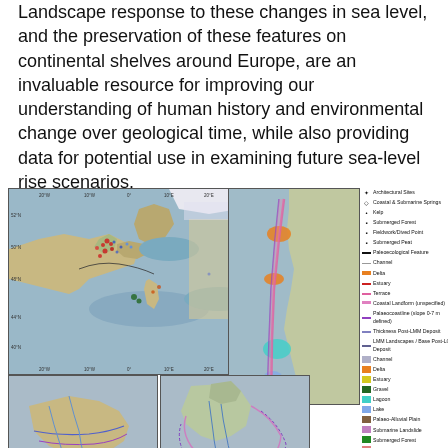Landscape response to these changes in sea level, and the preservation of these features on continental shelves around Europe, are an invaluable resource for improving our understanding of human history and environmental change over geological time, while also providing data for potential use in examining future sea-level rise scenarios.
[Figure (map): Multi-panel figure showing: (1) main map of Europe with submerged palaeolandscapes, archaeological sites, coastal/submarine springs, forest, submerged forest, fieldwork/dived points, submerged peat, palaeological features, channels, delta, estuary, terrace, coastal landforms; (2) right panel showing detailed coastal strip with colour-coded landforms; (3) lower-left inset of modelled palaeocoastlines from around 18,000 years BP; (4) lower-middle inset of modelled palaeocoastlines around UK area; (5) legend panel listing all map symbols and colours]
Modelled palaeocoastlines from oral palaeo-landscapes of Greece dated to 18,000 years BP (LGM)
Modelled palaeolandforms around UK area ~18,000 (in-pbc), 12,000 (in-cm), and 6000 (post, yrs)
Submerged palaeolandscapes from Atlantic Palaeocoastlines dated to 18,000 years BP (LGm)